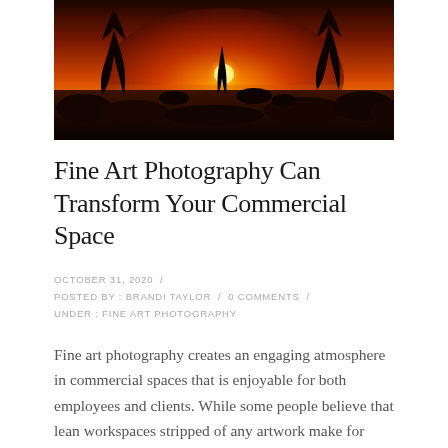[Figure (photo): Sunset landscape photo with silhouetted trees against an orange and red sky, with a bright sun orb visible through the trees and a flat grassland or marsh in the foreground.]
Fine Art Photography Can Transform Your Commercial Space
OCTOBER 31, 2020 / POSTED BY : BRANDI TAYLOR / 0 COMMENTS / UNDER : FINE ART PHOTOGRAPHY
Fine art photography creates an engaging atmosphere in commercial spaces that is enjoyable for both employees and clients. While some people believe that lean workspaces stripped of any artwork make for